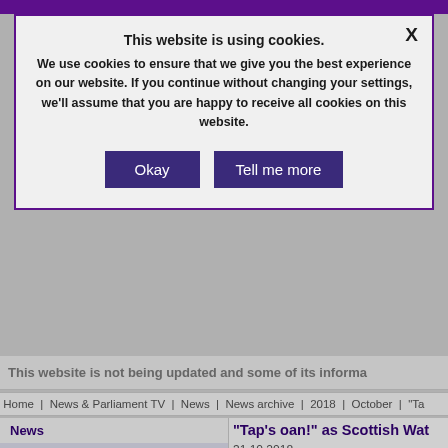This website is using cookies. We use cookies to ensure that we give you the best experience on our website. If you continue without changing your settings, we'll assume that you are happy to receive all cookies on this website.
Okay | Tell me more
This website is not being updated and some of its informa...
Home | News & Parliament TV | News | News archive | 2018 | October | "Ta...
News
News archive
"Tap's oan!" as Scottish Wat...
31.10.2018
"Tap's oan at Holyrood!" it has been con...
[Figure (photo): Partial image of what appears to be a rocky or textured surface, partially visible at the bottom of the page.]